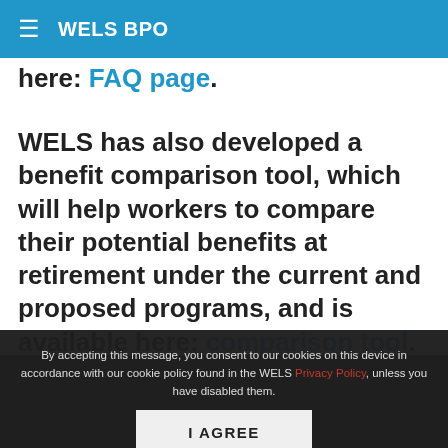WELS BPO
(…) here: FAQ page.
WELS has also developed a benefit comparison tool, which will help workers to compare their potential benefits at retirement under the current and proposed programs, and is available here: comparison tool.
By accepting this message, you consent to our cookies on this device in accordance with our cookie policy found in the WELS Privacy Policy, unless you have disabled them.
I AGREE
The proposed changes will be significant, starting July 2027. A convention delegate resolution will be provided for delegates to review, discuss, and vote on during the convention. If the convention